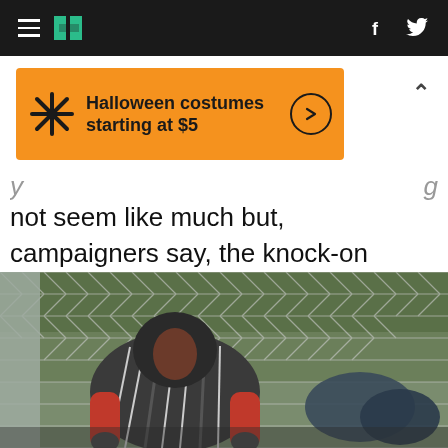HuffPost navigation with hamburger menu, logo, Facebook and Twitter icons
[Figure (infographic): Orange Walmart ad banner: star/asterisk logo, text 'Halloween costumes starting at $5', arrow circle button]
not seem like much but, campaigners say, the knock-on effects on the city could be huge.
[Figure (photo): Person wearing a striped hooded poncho standing against a chain-link fence, with bags and belongings around them. Background shows green trees through the fence.]